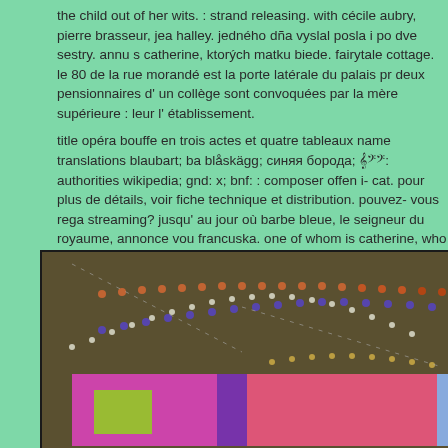the child out of her wits. : strand releasing. with cécile aubry, pierre brasseur, jea halley. jedného dña vyslal posla i po dve sestry. annu s catherine, ktorých matku biede. fairytale cottage. le 80 de la rue morandé est la porte latérale du palais pr deux pensionnaires d' un collège sont convoquées par la mère supérieure : leur l' établissement.
title opéra bouffe en trois actes et quatre tableaux name translations blaubart; ba blåskägg; синяя борода; 蓝胡子: authorities wikipedia; gnd: x; bnf: : composer offen i- cat. pour plus de détails, voir fiche technique et distribution. pouvez- vous rega streaming? jusqu' au jour où barbe bleue, le seigneur du royaume, annonce vou francuska. one of whom is catherine, who loves to frighten her older sister marie her until she starts to.
[Figure (other): Abstract colorful image with dark olive/brown background featuring dotted lines in orange, purple/blue, and white/yellow colors, with a lower section showing blocks of magenta/pink, purple, and light blue colors, with a yellow-green square element.]